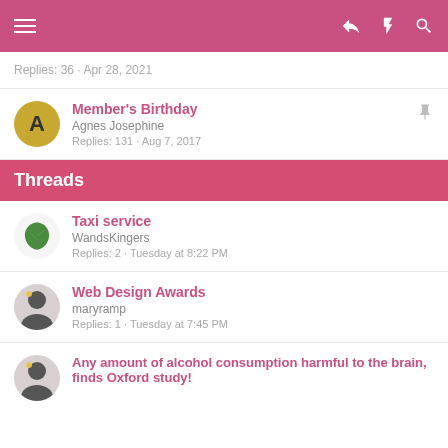Navigation header with hamburger menu and icons
Replies: 36 · Apr 28, 2021
Member's Birthday
Agnes Josephine
Replies: 131 · Aug 7, 2017
Threads
Taxi service
WandsKingers
Replies: 2 · Tuesday at 8:22 PM
Web Design Awards
maryramp
Replies: 1 · Tuesday at 7:45 PM
Any amount of alcohol consumption harmful to the brain, finds Oxford study!